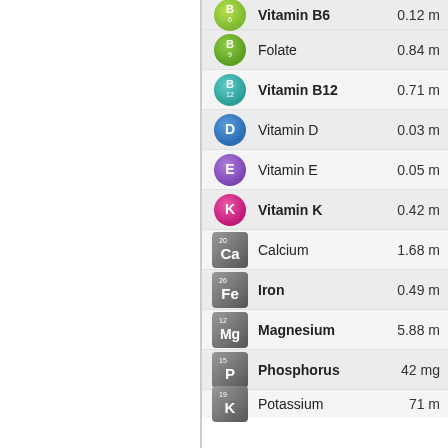| Icon | Nutrient | Value |
| --- | --- | --- |
| B6 | Vitamin B6 | 0.12 m |
| B9 | Folate | 0.84 m |
| B12 | Vitamin B12 | 0.71 m |
| D | Vitamin D | 0.03 m |
| E | Vitamin E | 0.05 m |
| K | Vitamin K | 0.42 m |
| Ca | Calcium | 1.68 m |
| Fe | Iron | 0.49 m |
| Mg | Magnesium | 5.88 m |
| P | Phosphorus | 42 mg |
| K | Potassium | 71 m |